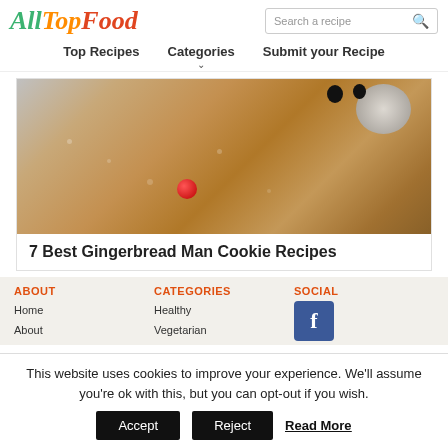AllTopFood
[Figure (logo): AllTopFood logo with stylized text in green, orange, and red]
Search a recipe
Top Recipes   Categories   Submit your Recipe
[Figure (photo): Close-up photo of a gingerbread man cookie with red candy button decoration]
7 Best Gingerbread Man Cookie Recipes
ABOUT
Home
About
CATEGORIES
Healthy
Vegetarian
SOCIAL
[Figure (logo): Facebook icon button in blue]
This website uses cookies to improve your experience. We'll assume you're ok with this, but you can opt-out if you wish.
Accept   Reject   Read More